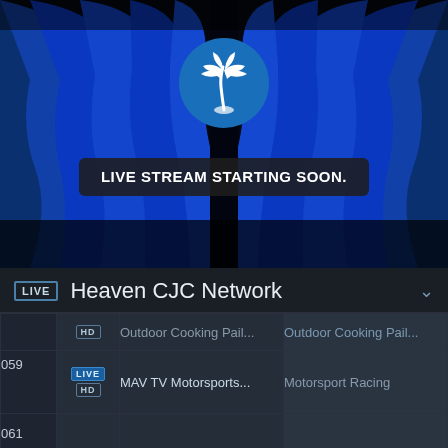[Figure (screenshot): Live stream waiting screen with blue curtain background, circular blue palm tree logo, and 'LIVE STREAM STARTING SOON.' banner overlay]
LIVE STREAM STARTING SOON.
LIVE  Heaven CJC Network
| Ch | Badges | Program | Description |
| --- | --- | --- | --- |
|  | HD | Outdoor Cooking Pail... | Outdoor Cooking Pail... |
| 059 | LIVE
HD | MAV TV Motorsports... | Motorsport Racing |
| 061 |  |  |  |